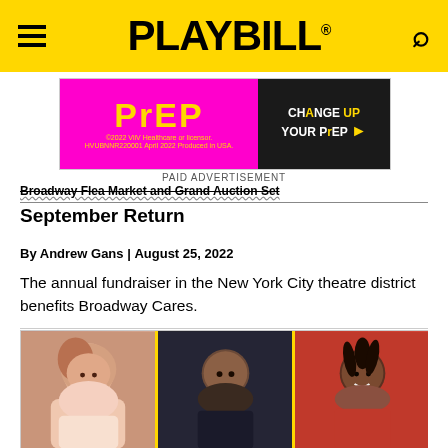PLAYBILL
[Figure (photo): PrEP advertisement - pink and dark background with 'CHANGE UP YOUR PrEP' text]
PAID ADVERTISEMENT
Broadway Flea Market and Grand Auction Set September Return
By Andrew Gans | August 25, 2022
The annual fundraiser in the New York City theatre district benefits Broadway Cares.
[Figure (photo): Three women smiling: a Hispanic woman with brown wavy hair on left, a Black woman with shaved head laughing in center, and a Black woman with curly hair on right]